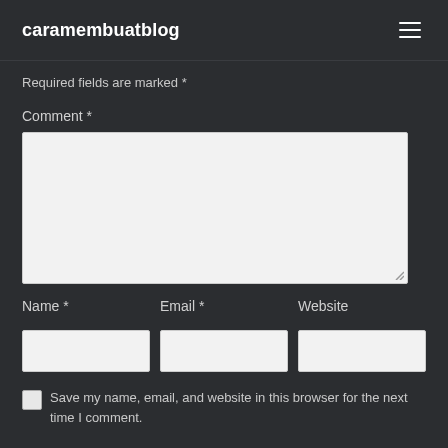caramembuatblog
Required fields are marked *
Comment *
[Figure (screenshot): Comment text area input box (empty, light gray background)]
Name *
Email *
Website
[Figure (screenshot): Three input fields side by side: Name, Email, Website]
Save my name, email, and website in this browser for the next time I comment.